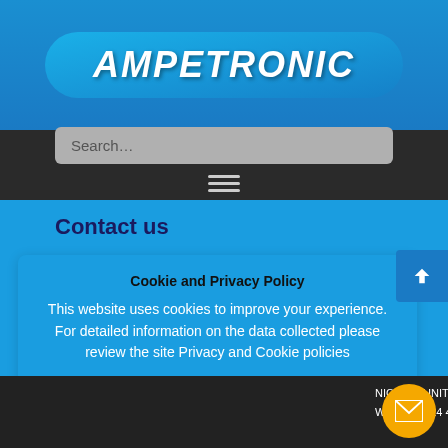AMPETRONIC
[Figure (screenshot): Search bar with placeholder text 'Search...']
Contact us
Cookie and Privacy Policy
This website uses cookies to improve your experience. For detailed information on the data collected please review the site Privacy and Cookie policies
Settings
Accept
NIC LTD, UNIT 2, WARK, NG24 4